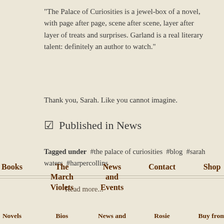"The Palace of Curiosities is a jewel-box of a novel, with page after page, scene after scene, layer after layer of treats and surprises. Garland is a real literary talent: definitely an author to watch."
Thank you, Sarah. Like you cannot imagine.
☑  Published in News
Tagged under  #the palace of curiosities  #blog  #sarah waters  #harpercollins
Read more...
Books  The March Violets  News and Events  Contact  Shop
Novels  Bios  News and  Rosie  Buy from